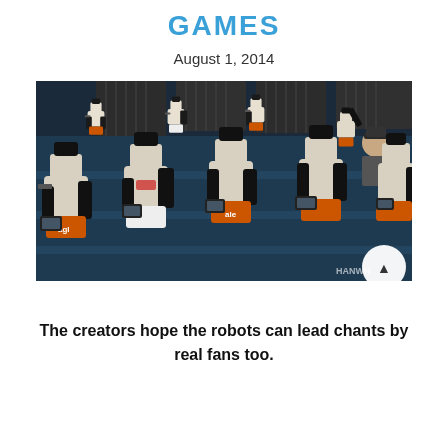GAMES
August 1, 2014
[Figure (photo): Rows of robot mannequins dressed in baseball uniforms (orange and black), seated in bleachers, each holding a tablet-like device. A real person is visible in the background. A watermark 'HANWH' appears in the bottom right corner.]
The creators hope the robots can lead chants by real fans too.